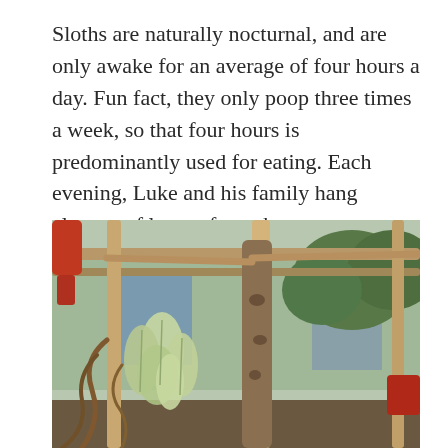Sloths are naturally nocturnal, and are only awake for an average of four hours a day. Fun fact, they only poop three times a week, so that four hours is predominantly used for eating. Each evening, Luke and his family hang clusters of leaves from the trumpet tree for the sloths to munch on when they awake.
[Figure (photo): Outdoor photo showing a wooden enclosure structure with branches and posts. Large white trumpet tree leaf clusters hang from the wooden frame. A thick tree trunk is visible in the center. Background shows buildings and trees under daylight.]